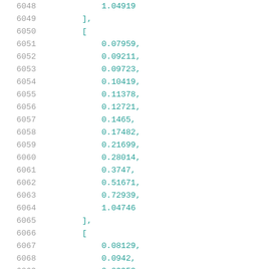6048 ... 1.04919
6049     ],
6050     [
6051         0.07959,
6052         0.09211,
6053         0.09723,
6054         0.10419,
6055         0.11378,
6056         0.12721,
6057         0.1465,
6058         0.17482,
6059         0.21699,
6060         0.28014,
6061         0.3747,
6062         0.51671,
6063         0.72939,
6064         1.04746
6065     ],
6066     [
6067         0.08129,
6068         0.0942,
6069         0.09953,